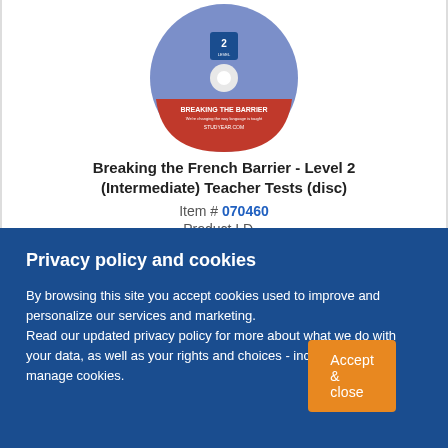[Figure (photo): A CD disc with purple/blue top and red bottom half, labeled 'Breaking the Barrier French Level 2 Intermediate Teacher Testing Program']
Breaking the French Barrier - Level 2 (Intermediate) Teacher Tests (disc)
Item # 070460
Privacy policy and cookies
By browsing this site you accept cookies used to improve and personalize our services and marketing. Read our updated privacy policy for more about what we do with your data, as well as your rights and choices - including how to manage cookies.